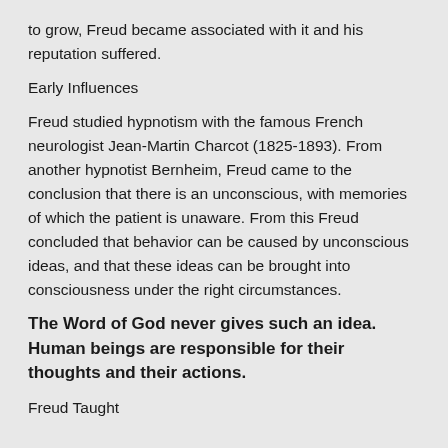to grow, Freud became associated with it and his reputation suffered.
Early Influences
Freud studied hypnotism with the famous French neurologist Jean-Martin Charcot (1825-1893). From another hypnotist Bernheim, Freud came to the conclusion that there is an unconscious, with memories of which the patient is unaware. From this Freud concluded that behavior can be caused by unconscious ideas, and that these ideas can be brought into consciousness under the right circumstances.
The Word of God never gives such an idea. Human beings are responsible for their thoughts and their actions.
Freud Taught